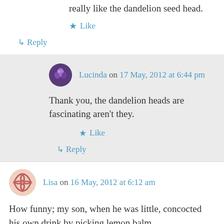really like the dandelion seed head.
★ Like
↳ Reply
Lucinda on 17 May, 2012 at 6:44 pm
Thank you, the dandelion heads are fascinating aren't they.
★ Like
↳ Reply
Lisa on 16 May, 2012 at 6:12 am
How funny; my son, when he was little, concocted his own drink by picking lemon balm